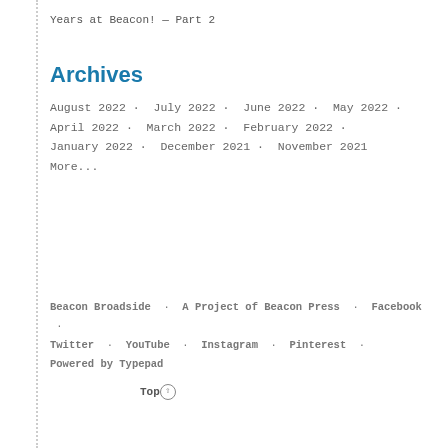Years at Beacon! — Part 2
Archives
August 2022 · July 2022 · June 2022 · May 2022 · April 2022 · March 2022 · February 2022 · January 2022 · December 2021 · November 2021 More...
Beacon Broadside · A Project of Beacon Press · Facebook · Twitter · YouTube · Instagram · Pinterest · Powered by Typepad
Top↑